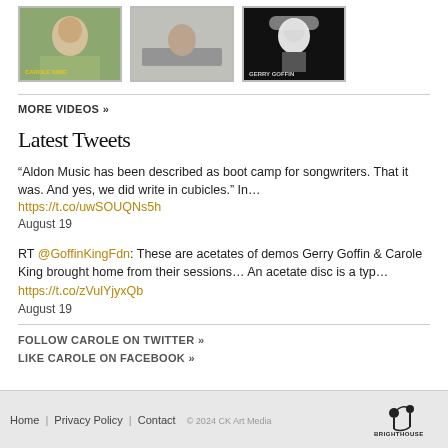[Figure (photo): Three video thumbnails in a row: first shows a blonde woman outdoors, second shows a woman at a piano, third shows a young man singing in black and white]
MORE VIDEOS »
Latest Tweets
“Aldon Music has been described as boot camp for songwriters. That it was. And yes, we did write in cubicles.” In… https://t.co/uwSOUQNs5h August 19
RT @GoffinKingFdn: These are acetates of demos Gerry Goffin & Carole King brought home from their sessions… An acetate disc is a typ… https://t.co/zVulYjyxQb August 19
FOLLOW CAROLE ON TWITTER »
LIKE CAROLE ON FACEBOOK »
Home | Privacy Policy | Contact   © 2024 CK Art Media   BRIGHTHOUSE